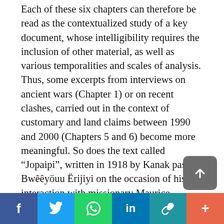Each of these six chapters can therefore be read as the contextualized study of a key document, whose intelligibility requires the inclusion of other material, as well as various temporalities and scales of analysis. Thus, some excerpts from interviews on ancient wars (Chapter 1) or on recent clashes, carried out in the context of customary and land claims between 1990 and 2000 (Chapters 5 and 6) become more meaningful. So does the text called “Jopaipi”, written in 1918 by Kanak pastor Bwêëyöuu Ërijiyi on the occasion of his interaction with missionary Maurice
[Figure (other): Scroll-to-top button (grey rounded square with upward arrow icon)]
Social share bar with icons: Facebook, Twitter, WhatsApp, LinkedIn, Link, More